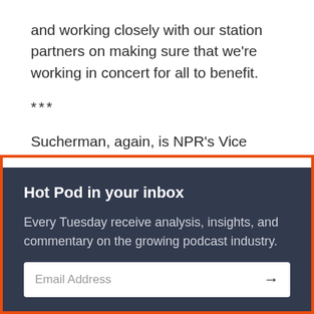and working closely with our station partners on making sure that we're working in concert for all to benefit.
***
Sucherman, again, is NPR's Vice President of New Platform Partnerships.
Hot Pod in your inbox
Every Tuesday receive analysis, insights, and commentary on the growing podcast industry.
Email Address